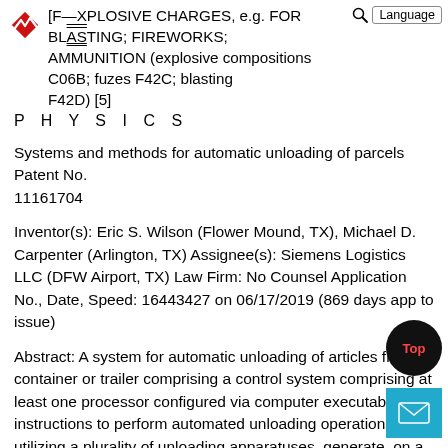[F— EXPLOSIVE CHARGES, e.g. FOR BLASTING; FIREWORKS; AMMUNITION (explosive compositions C06B; fuzes F42C; blasting F42D) [5]
P H Y S I C S
Systems and methods for automatic unloading of parcels Patent No. 11161704
Inventor(s): Eric S. Wilson (Flower Mound, TX), Michael D. Carpenter (Arlington, TX) Assignee(s): Siemens Logistics LLC (DFW Airport, TX) Law Firm: No Counsel Application No., Date, Speed: 16443427 on 06/17/2019 (869 days app to issue)
Abstract: A system for automatic unloading of articles from a container or trailer comprising a control system comprising at least one processor configured via computer executable instructions to perform automated unloading operations utilizing a plurality of unloading apparatuses, generate, on a display, an identification for each o